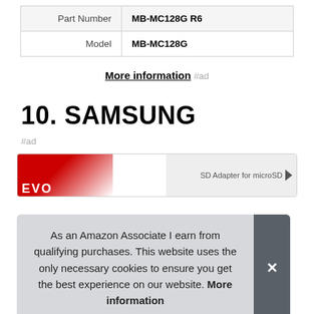| Part Number | MB-MC128G R6 |
| Model | MB-MC128G |
More information #ad
10. SAMSUNG
#ad
[Figure (other): Product image of Samsung EVO SD card with SD Adapter for microSD arrow]
As an Amazon Associate I earn from qualifying purchases. This website uses the only necessary cookies to ensure you get the best experience on our website. More information